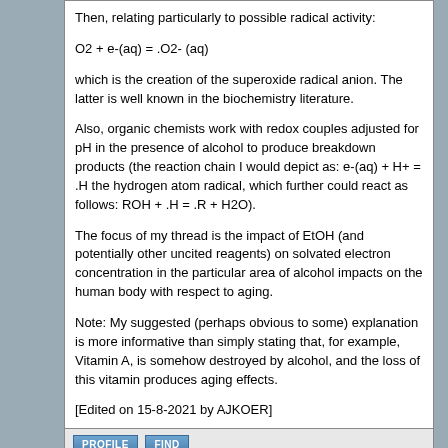Then, relating particularly to possible radical activity:
which is the creation of the superoxide radical anion. The latter is well known in the biochemistry literature.
Also, organic chemists work with redox couples adjusted for pH in the presence of alcohol to produce breakdown products (the reaction chain I would depict as: e-(aq) + H+ = .H the hydrogen atom radical, which further could react as follows: ROH + .H = .R + H2O).
The focus of my thread is the impact of EtOH (and potentially other uncited reagents) on solvated electron concentration in the particular area of alcohol impacts on the human body with respect to aging.
Note: My suggested (perhaps obvious to some) explanation is more informative than simply stating that, for example, Vitamin A, is somehow destroyed by alcohol, and the loss of this vitamin produces aging effects.
[Edited on 15-8-2021 by AJKOER]
Texium
Administrator
posted on 15-8-2021 at 16:12